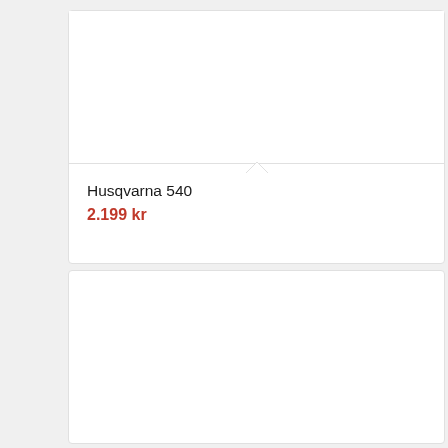[Figure (other): Product card with image area (empty/white) and a small upward-pointing notch at the bottom center of the card border]
Husqvarna 540
2.199 kr
[Figure (other): Second product card with empty white image area]